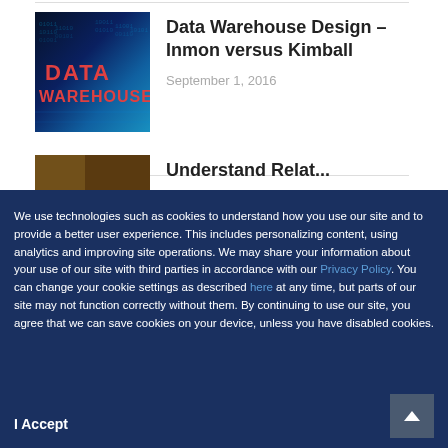[Figure (photo): Data Warehouse thumbnail image with digital blue matrix background and red text reading DATA WAREHOUSE]
Data Warehouse Design – Inmon versus Kimball
September 1, 2016
[Figure (photo): Partially visible thumbnail of a second article]
Understand Relat...
We use technologies such as cookies to understand how you use our site and to provide a better user experience. This includes personalizing content, using analytics and improving site operations. We may share your information about your use of our site with third parties in accordance with our Privacy Policy. You can change your cookie settings as described here at any time, but parts of our site may not function correctly without them. By continuing to use our site, you agree that we can save cookies on your device, unless you have disabled cookies.
I Accept